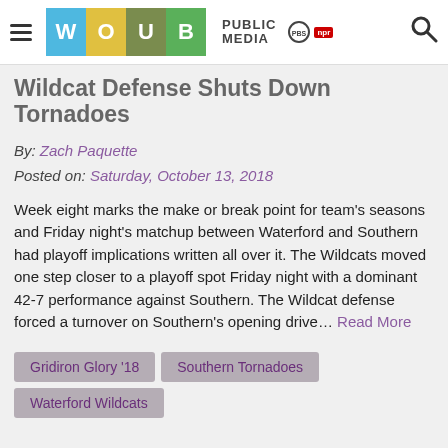WOUB PUBLIC MEDIA PBS NPR
Wildcat Defense Shuts Down Tornadoes
By: Zach Paquette
Posted on: Saturday, October 13, 2018
Week eight marks the make or break point for team's seasons and Friday night's matchup between Waterford and Southern had playoff implications written all over it. The Wildcats moved one step closer to a playoff spot Friday night with a dominant 42-7 performance against Southern. The Wildcat defense forced a turnover on Southern's opening drive… Read More
Gridiron Glory '18
Southern Tornadoes
Waterford Wildcats